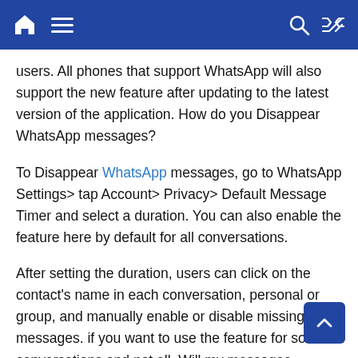Home | Menu | Search | Shuffle
users. All phones that support WhatsApp will also support the new feature after updating to the latest version of the application. How do you Disappear WhatsApp messages?
To Disappear WhatsApp messages, go to WhatsApp Settings> tap Account> Privacy> Default Message Timer and select a duration. You can also enable the feature here by default for all conversations.
After setting the duration, users can click on the contact's name in each conversation, personal or group, and manually enable or disable missing messages. if you want to use the feature for some conversations and not all. Will my messages disappear everywhere? no Even if you have already enabled this feature, automatically Disappear messages may still appear in the notification bar if left unattended. If the message was quoted before deletion, part or all